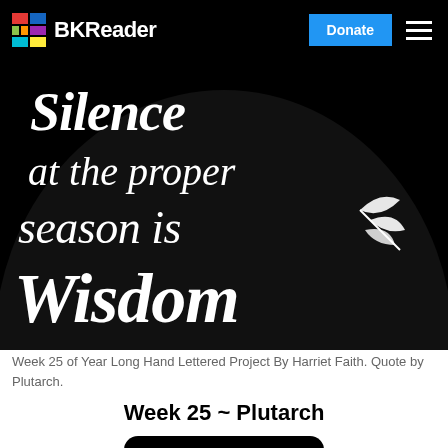BKReader — Donate
[Figure (illustration): Black circular background with white hand-lettered text reading 'Silence at the proper season is Wisdom', with decorative leaf illustrations. Week 25 of Year Long Hand Lettered Project by Harriet Faith.]
Week 25 of Year Long Hand Lettered Project By Harriet Faith. Quote by Plutarch.
Week 25 ~ Plutarch
[Figure (illustration): Partial view of another circular black hand-lettered illustration at the bottom of the page.]